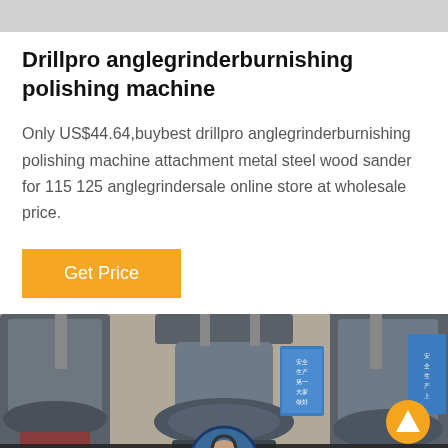Drillpro anglegrinderburnishing polishing machine
Only US$44.64,buybest drillpro anglegrinderburnishing polishing machine attachment metal steel wood sander for 115 125 anglegrindersale online store at wholesale price.
Get Price
[Figure (photo): Industrial angle grinder burnishing/polishing machines in a factory setting, showing large dark gray cylindrical grinding machine heads with pipes and a blue safety sign in the background. Bottom overlay bar with Leave Message and Chat Online buttons, and a customer service avatar.]